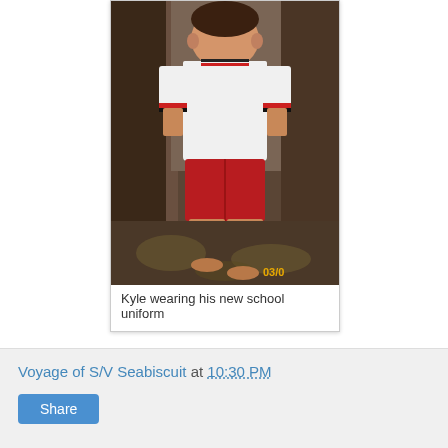[Figure (photo): A boy wearing a white polo shirt with red and black collar stripes and red shorts, standing barefoot on a patterned rug near a door. Photo timestamp shows 03/0 in yellow.]
Kyle wearing his new school uniform
Voyage of S/V Seabiscuit at 10:30 PM
Share